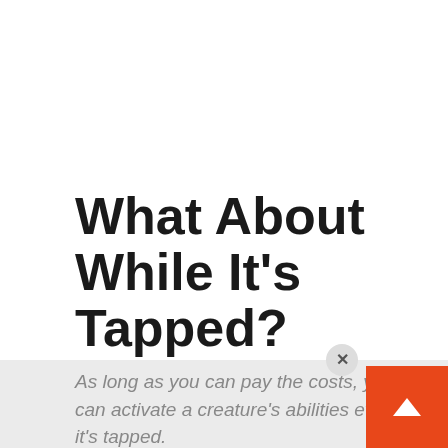What About While It's Tapped?
As long as you can pay the costs, you can activate a creature's abilities even if it's tapped.